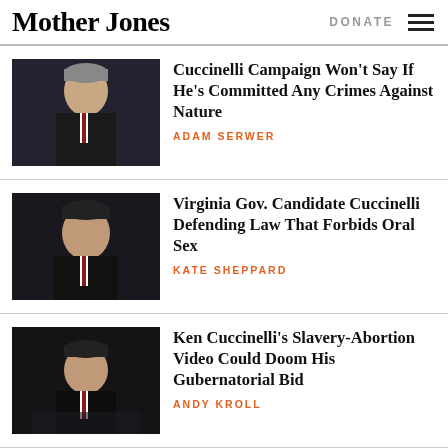Mother Jones | DONATE
Cuccinelli Campaign Won't Say If He's Committed Any Crimes Against Nature
ADAM SERWER
Virginia Gov. Candidate Cuccinelli Defending Law That Forbids Oral Sex
KATE SHEPPARD
Ken Cuccinelli's Slavery-Abortion Video Could Doom His Gubernatorial Bid
ANDY KROLL